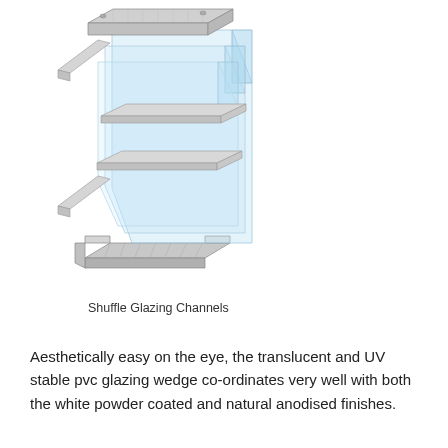[Figure (engineering-diagram): Isometric exploded diagram of Shuffle Glazing Channels showing aluminium channel profiles (top and bottom) and multiple translucent blue glass or polycarbonate panels inserted between horizontal glazing bars.]
Shuffle Glazing Channels
Aesthetically easy on the eye, the translucent and UV stable pvc glazing wedge co-ordinates very well with both the white powder coated and natural anodised finishes.